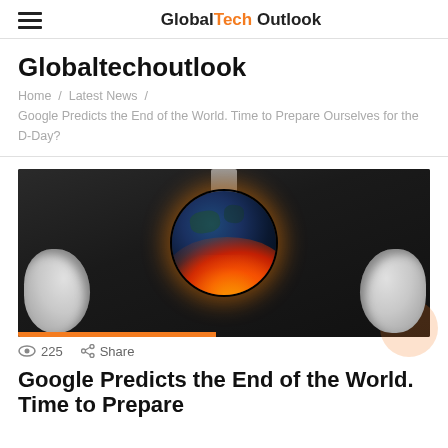GlobalTech Outlook
Globaltechoutlook
Home / Latest News / Google Predicts the End of the World. Time to Prepare Ourselves for the D-Day?
[Figure (photo): A man in a dark suit holding a burning Earth globe between his hands, black and white photo with color fire effect on the globe.]
225  Share
Google Predicts the End of the World. Time to Prepare Ourselves for the D-Day?